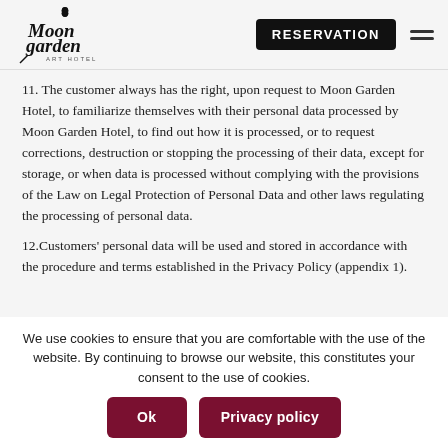Moon Garden Art Hotel — RESERVATION
11. The customer always has the right, upon request to Moon Garden Hotel, to familiarize themselves with their personal data processed by Moon Garden Hotel, to find out how it is processed, or to request corrections, destruction or stopping the processing of their data, except for storage, or when data is processed without complying with the provisions of the Law on Legal Protection of Personal Data and other laws regulating the processing of personal data.
12.Customers' personal data will be used and stored in accordance with the procedure and terms established in the Privacy Policy (appendix 1).
We use cookies to ensure that you are comfortable with the use of the website. By continuing to browse our website, this constitutes your consent to the use of cookies.